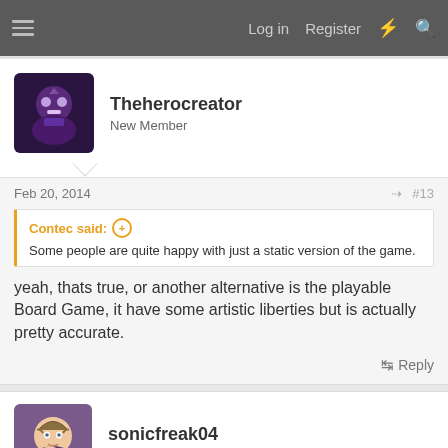Log in  Register
Theherocreator
New Member
Feb 20, 2014  #13
Contec said:
Some people are quite happy with just a static version of the game.
yeah, thats true, or another alternative is the playable Board Game, it have some artistic liberties but is actually pretty accurate.
Reply
sonicfreak04
Sr Member